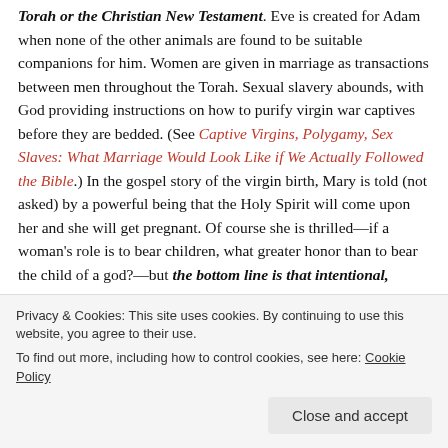Torah or the Christian New Testament. Eve is created for Adam when none of the other animals are found to be suitable companions for him. Women are given in marriage as transactions between men throughout the Torah. Sexual slavery abounds, with God providing instructions on how to purify virgin war captives before they are bedded. (See Captive Virgins, Polygamy, Sex Slaves: What Marriage Would Look Like if We Actually Followed the Bible.) In the gospel story of the virgin birth, Mary is told (not asked) by a powerful being that the Holy Spirit will come upon her and she will get pregnant. Of course she is thrilled—if a woman's role is to bear children, what greater honor than to bear the child of a god?—but the bottom line is that intentional, volitional
Privacy & Cookies: This site uses cookies. By continuing to use this website, you agree to their use. To find out more, including how to control cookies, see here: Cookie Policy